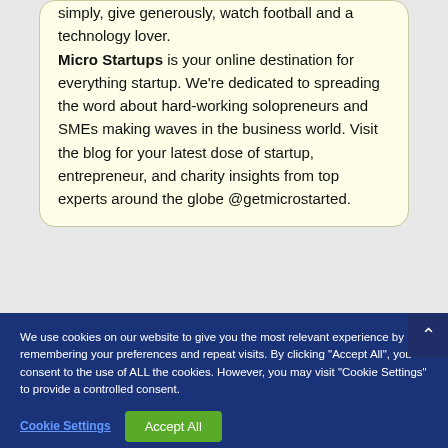simply, give generously, watch football and a technology lover. Micro Startups is your online destination for everything startup. We're dedicated to spreading the word about hard-working solopreneurs and SMEs making waves in the business world. Visit the blog for your latest dose of startup, entrepreneur, and charity insights from top experts around the globe @getmicrostarted.
We use cookies on our website to give you the most relevant experience by remembering your preferences and repeat visits. By clicking "Accept All", you consent to the use of ALL the cookies. However, you may visit "Cookie Settings" to provide a controlled consent.
Cookie Settings
Accept All